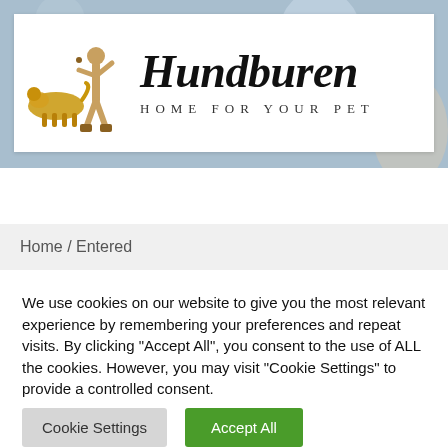[Figure (logo): Hundburen logo with dog and person silhouette, text 'Hundburen HOME FOR YOUR PET']
[Figure (other): Navigation bar with home icon (gold background), hamburger menu icon, and search icon on dark background]
Home / Entered
We use cookies on our website to give you the most relevant experience by remembering your preferences and repeat visits. By clicking "Accept All", you consent to the use of ALL the cookies. However, you may visit "Cookie Settings" to provide a controlled consent.
Cookie Settings
Accept All